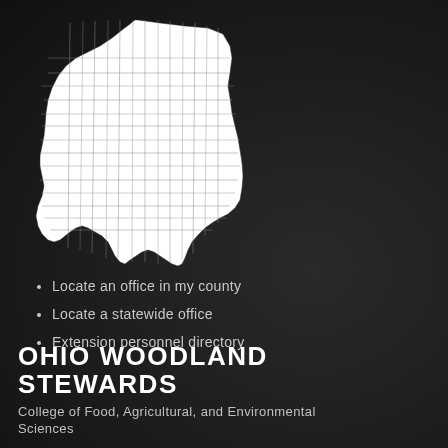[Figure (map): White outline map of the state of Ohio showing county boundaries on a dark background]
Locate an office in my county
Locate a statewide office
Extension personnel directory
OHIO WOODLAND STEWARDS
College of Food, Agricultural, and Environmental Sciences